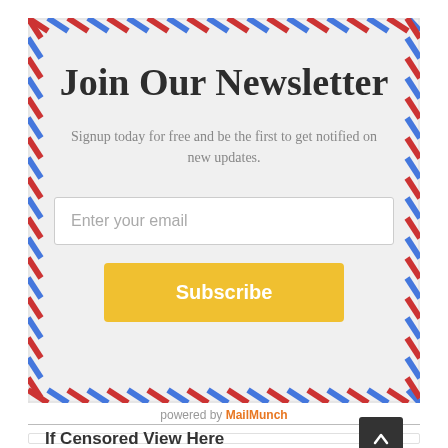Join Our Newsletter
Signup today for free and be the first to get notified on new updates.
Enter your email
Subscribe
powered by MailMunch
If Censored View Here